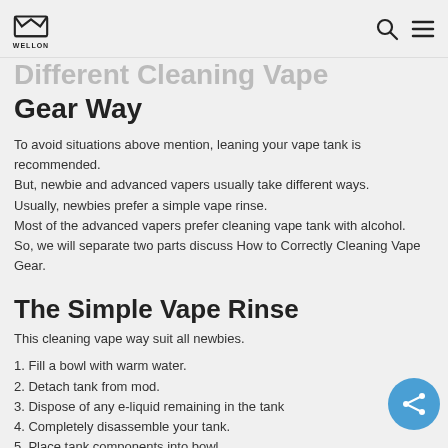WELLON [logo] [search icon] [menu icon]
Different Cleaning Vape Gear Way
To avoid situations above mention, leaning your vape tank is recommended.
But, newbie and advanced vapers usually take different ways.
Usually, newbies prefer a simple vape rinse.
Most of the advanced vapers prefer cleaning vape tank with alcohol.
So, we will separate two parts discuss How to Correctly Cleaning Vape Gear.
The Simple Vape Rinse
This cleaning vape way suit all newbies.
1. Fill a bowl with warm water.
2. Detach tank from mod.
3. Dispose of any e-liquid remaining in the tank
4. Completely disassemble your tank.
5. Place tank components into bowl.
6. Wash tank components in water until clean. If tank is extremely dirty, a few drops of dish soap will help!
7. Dry off...